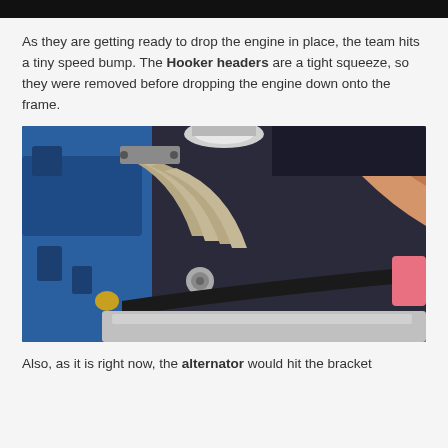[Figure (photo): Black bar at top of page, cropped image edge]
As they are getting ready to drop the engine in place, the team hits a tiny speed bump. The Hooker headers are a tight squeeze, so they were removed before dropping the engine down onto the frame.
[Figure (photo): Close-up photo of Hooker headers (exhaust manifold tubes) attached to a blue engine block, with a person's hand visible on the right, and a silver valve cover at the bottom.]
Also, as it is right now, the alternator would hit the bracket